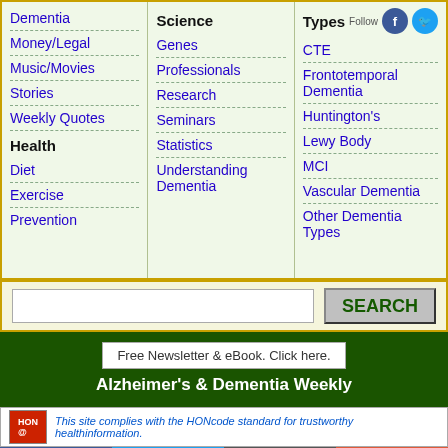Dementia
Money/Legal
Music/Movies
Stories
Weekly Quotes
Health
Diet
Exercise
Prevention
Science
Genes
Professionals
Research
Seminars
Statistics
Understanding Dementia
Types
CTE
Frontotemporal Dementia
Huntington's
Lewy Body
MCI
Vascular Dementia
Other Dementia Types
Free Newsletter & eBook. Click here.
Alzheimer's & Dementia Weekly
This site complies with the HONcode standard for trustworthy healthinformation.